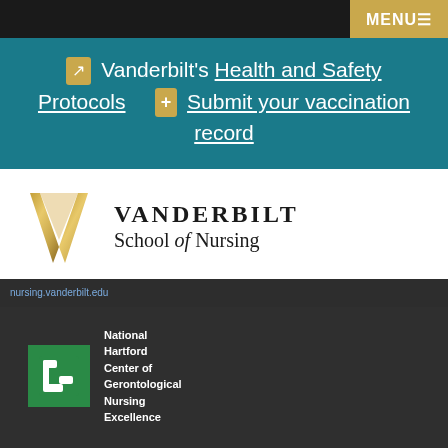MENU≡
↗ Vanderbilt's Health and Safety Protocols   + Submit your vaccination record
[Figure (logo): Vanderbilt School of Nursing logo with gold V and text]
nursing.vanderbilt.edu (link)
[Figure (logo): National Hartford Center of Gerontological Nursing Excellence logo - green square with G icon]
[Figure (logo): INSIGHT Into Diversity Health Professions Higher Education Excellence in Diversity Award badge]